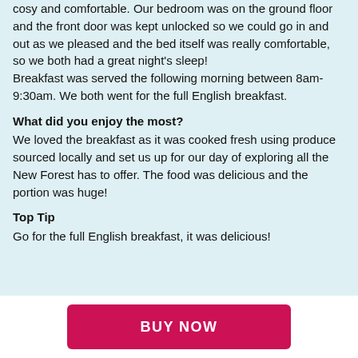cosy and comfortable. Our bedroom was on the ground floor and the front door was kept unlocked so we could go in and out as we pleased and the bed itself was really comfortable, so we both had a great night's sleep! Breakfast was served the following morning between 8am-9:30am. We both went for the full English breakfast.
What did you enjoy the most?
We loved the breakfast as it was cooked fresh using produce sourced locally and set us up for our day of exploring all the New Forest has to offer. The food was delicious and the portion was huge!
Top Tip
Go for the full English breakfast, it was delicious!
BUY NOW